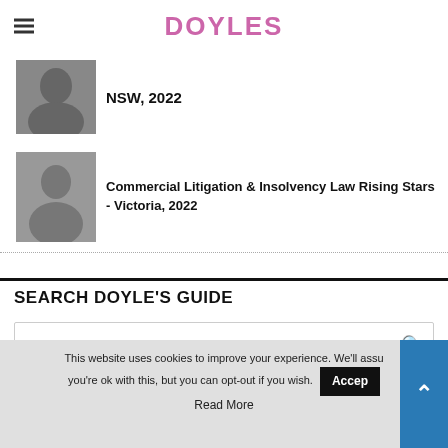DOYLES
NSW, 2022
Commercial Litigation & Insolvency Law Rising Stars - Victoria, 2022
SEARCH DOYLE'S GUIDE
Enter keyword...
This website uses cookies to improve your experience. We'll assume you're ok with this, but you can opt-out if you wish. Accept Read More